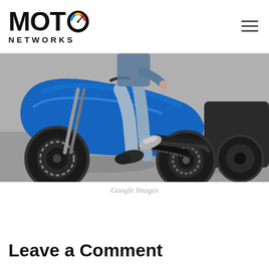MOTO NETWORKS
[Figure (photo): Close-up photo of a person straddling a blue sport motorcycle (Suzuki GSX-R style), wearing jeans and black boots, with another dark motorcycle visible in the background on a pavement surface.]
Google Images
Leave a Comment